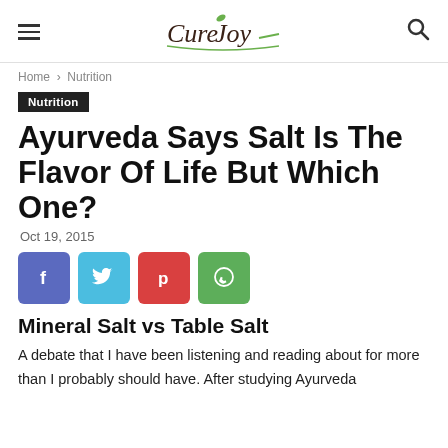CureJoy
Home › Nutrition
Nutrition
Ayurveda Says Salt Is The Flavor Of Life But Which One?
Oct 19, 2015
[Figure (infographic): Social share buttons: Facebook, Twitter, Pinterest, WhatsApp]
Mineral Salt vs Table Salt
A debate that I have been listening and reading about for more than I probably should have. After studying Ayurveda